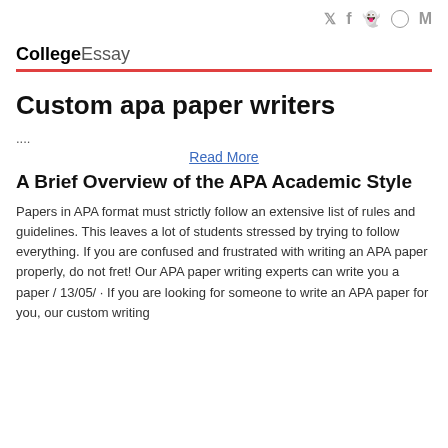🐦 f 👻 ○ M
CollegeEssay
Custom apa paper writers
....
Read More
A Brief Overview of the APA Academic Style
Papers in APA format must strictly follow an extensive list of rules and guidelines. This leaves a lot of students stressed by trying to follow everything. If you are confused and frustrated with writing an APA paper properly, do not fret! Our APA paper writing experts can write you a paper / 13/05/ · If you are looking for someone to write an APA paper for you, our custom writing